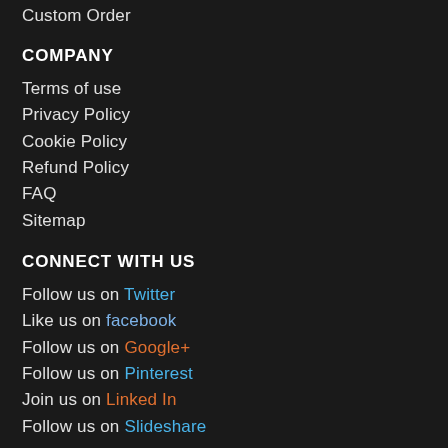Custom Order
COMPANY
Terms of use
Privacy Policy
Cookie Policy
Refund Policy
FAQ
Sitemap
CONNECT WITH US
Follow us on Twitter
Like us on facebook
Follow us on Google+
Follow us on Pinterest
Join us on Linked In
Follow us on Slideshare
Microz © Press Print Mix © & Wired © Mix © © Font...